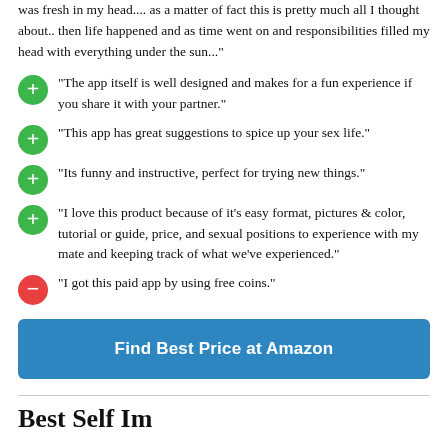was fresh in my head.... as a matter of fact this is pretty much all I thought about.. then life happened and as time went on and responsibilities filled my head with everything under the sun..."
"The app itself is well designed and makes for a fun experience if you share it with your partner."
"This app has great suggestions to spice up your sex life."
"Its funny and instructive, perfect for trying new things."
"I love this product because of it's easy format, pictures & color, tutorial or guide, price, and sexual positions to experience with my mate and keeping track of what we've experienced."
"I got this paid app by using free coins."
Find Best Price at Amazon
Best Self Improvement Apps